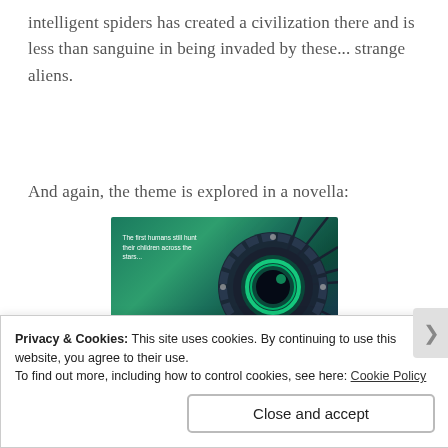intelligent spiders has created a civilization there and is less than sanguine in being invaded by these... strange aliens.
And again, the theme is explored in a novella:
[Figure (illustration): Book cover showing a mechanical or alien eye on a teal/green cosmic background with text: 'The first humans still hunt their children across the stars...']
Privacy & Cookies: This site uses cookies. By continuing to use this website, you agree to their use.
To find out more, including how to control cookies, see here: Cookie Policy
Close and accept